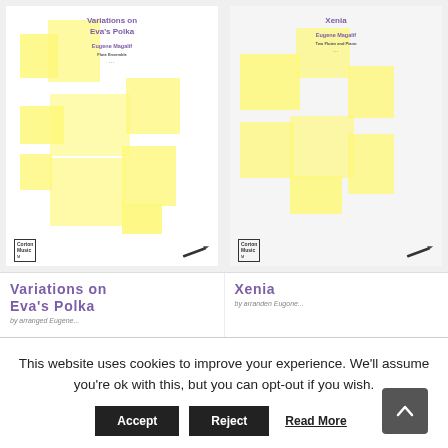[Figure (illustration): Book cover for 'Variations on Eva's Polka' by Eugene Magalif, Flute Ensemble, with yellow geometric squares pattern and Corton Music logo]
[Figure (illustration): Book cover for 'Xenia' by Eugene Magalif, Two Flutes and Piano, with yellow geometric squares pattern and Corton Music logo]
Variations on Eva's Polka
Xenia
This website uses cookies to improve your experience. We'll assume you're ok with this, but you can opt-out if you wish.
Accept
Reject
Read More